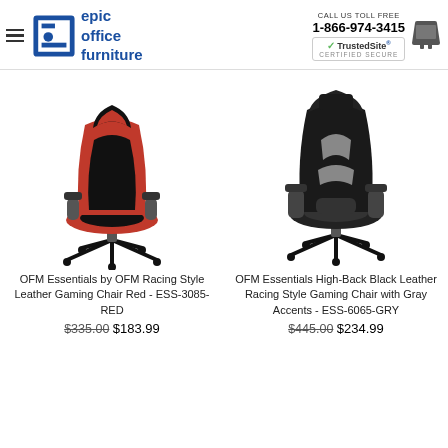epic office furniture | CALL US TOLL FREE 1-866-974-3415 | TrustedSite CERTIFIED SECURE
[Figure (photo): Red and black racing style leather gaming chair (OFM ESS-3085-RED) on white background]
[Figure (photo): Black leather high-back racing style gaming chair with gray accents (OFM ESS-6065-GRY) on white background]
OFM Essentials by OFM Racing Style Leather Gaming Chair Red - ESS-3085-RED
$335.00 $183.99
OFM Essentials High-Back Black Leather Racing Style Gaming Chair with Gray Accents - ESS-6065-GRY
$445.00 $234.99